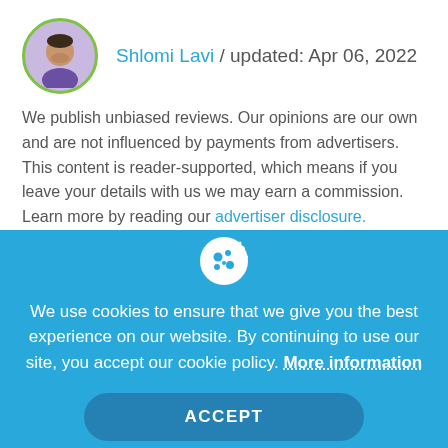Shlomi Lavi / updated: Apr 06, 2022
We publish unbiased reviews. Our opinions are our own and are not influenced by payments from advertisers. This content is reader-supported, which means if you leave your details with us we may earn a commission. Learn more by reading our advertiser disclosure.
Integrated Aviation Software competes with other aviation maintenance systems like IFS, Quantum Control, SMS Pro, and
We use cookies to ensure that we give you the best experience on our website. By continuing to use our site, you accept our cookie policy. More information
ACCEPT